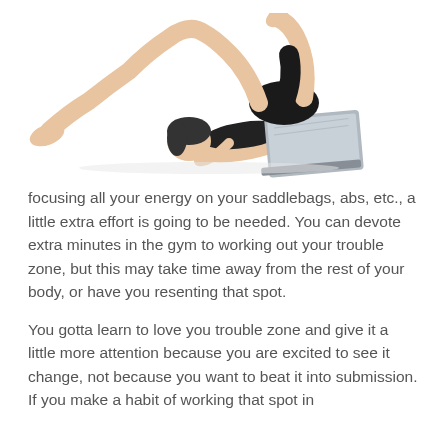[Figure (photo): A woman lying on her back in a yoga/exercise bridge pose, legs raised and bent at knees, wearing black shorts and sports top, using a laptop computer balanced on her torso. White background.]
focusing all your energy on your saddlebags, abs, etc., a little extra effort is going to be needed. You can devote extra minutes in the gym to working out your trouble zone, but this may take time away from the rest of your body, or have you resenting that spot.
You gotta learn to love you trouble zone and give it a little more attention because you are excited to see it change, not because you want to beat it into submission. If you make a habit of working that spot in